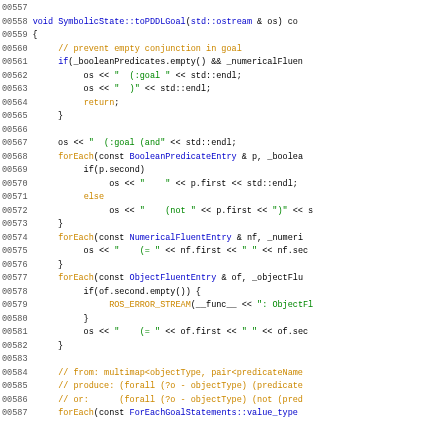[Figure (screenshot): Source code listing showing C++ method SymbolicState::toPDDLGoal with line numbers 00557-00587, syntax highlighted with blue keywords, orange keywords (return, else, forEach, ROS_ERROR_STREAM), green comments, and black plain text.]